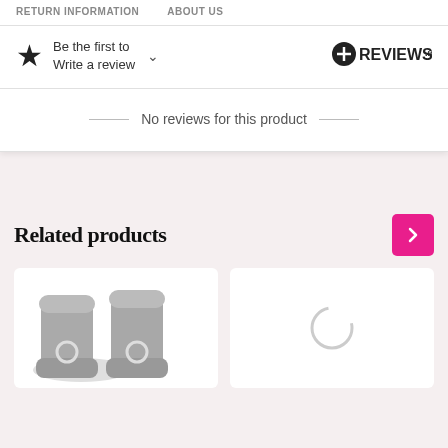RETURN INFORMATION   ABOUT US
Be the first to Write a review
[Figure (logo): OREVIEWS.io logo - black circle with plus/cross icon followed by REVIEWS.io text]
No reviews for this product
Related products
[Figure (photo): Grey suede ankle boots with ring buckle detail, shown as a product photo on white background]
[Figure (photo): Loading spinner circle on white background - second related product still loading]